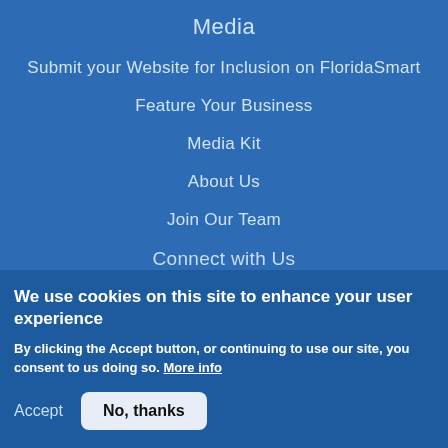Media
Submit your Website for Inclusion on FloridaSmart
Feature Your Business
Media Kit
About Us
Join Our Team
Connect with Us
We use cookies on this site to enhance your user experience
By clicking the Accept button, or continuing to use our site, you consent to us doing so. More info
Accept   No, thanks